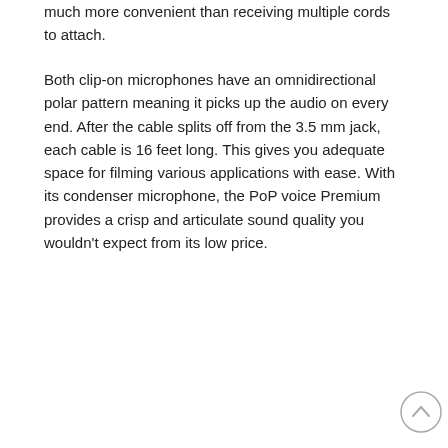much more convenient than receiving multiple cords to attach.
Both clip-on microphones have an omnidirectional polar pattern meaning it picks up the audio on every end. After the cable splits off from the 3.5 mm jack, each cable is 16 feet long. This gives you adequate space for filming various applications with ease. With its condenser microphone, the PoP voice Premium provides a crisp and articulate sound quality you wouldn't expect from its low price.